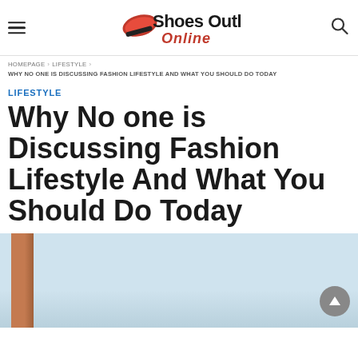Shoes Outlet Online
HOMEPAGE > LIFESTYLE > WHY NO ONE IS DISCUSSING FASHION LIFESTYLE AND WHAT YOU SHOULD DO TODAY
LIFESTYLE
Why No one is Discussing Fashion Lifestyle And What You Should Do Today
[Figure (photo): Partial view of a fashion/travel scene with a wooden door panel on the left side and a bright sky background, with a decorative structure visible at the right edge.]